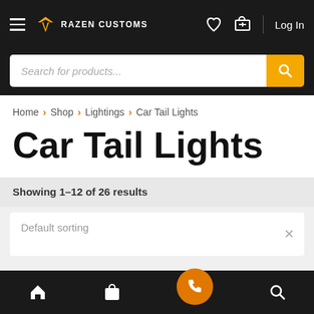Razen Customs — Navigation bar with hamburger menu, logo, heart icon, cart icon, Log In
Search for products...
Home > Shop > Lightings > Car Tail Lights
Car Tail Lights
Showing 1–12 of 26 results
Default sorting
Bottom navigation: Home, Shop, Phone, Search